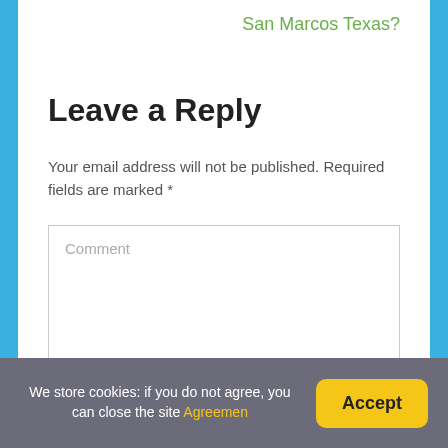San Marcos Texas?
Leave a Reply
Your email address will not be published. Required fields are marked *
Comment
We store cookies: if you do not agree, you can close the site Agreemen